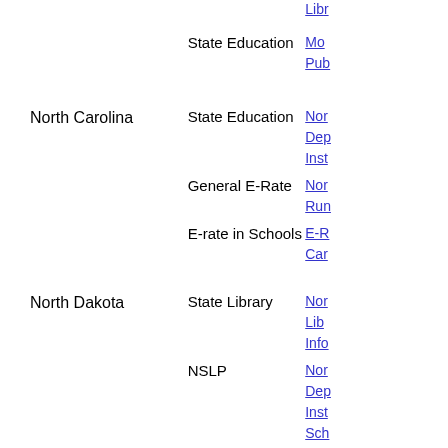| State | Type | Link |
| --- | --- | --- |
|  | State Education | Lib... |
|  | State Education | Mo... Pub... |
| North Carolina | State Education | Nor... Dep... Inst... |
|  | General E-Rate | Nor... Run... |
|  | E-rate in Schools | E-R... Car... |
| North Dakota | State Library | Nor... Lib... Info... |
|  | NSLP | Nor... Dep... Inst... Sch... |
|  | State Education | Nor... Dep... Inst... |